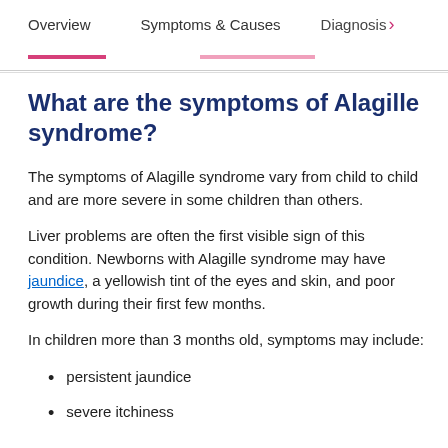Overview | Symptoms & Causes | Diagnosis
What are the symptoms of Alagille syndrome?
The symptoms of Alagille syndrome vary from child to child and are more severe in some children than others.
Liver problems are often the first visible sign of this condition. Newborns with Alagille syndrome may have jaundice, a yellowish tint of the eyes and skin, and poor growth during their first few months.
In children more than 3 months old, symptoms may include:
persistent jaundice
severe itchiness